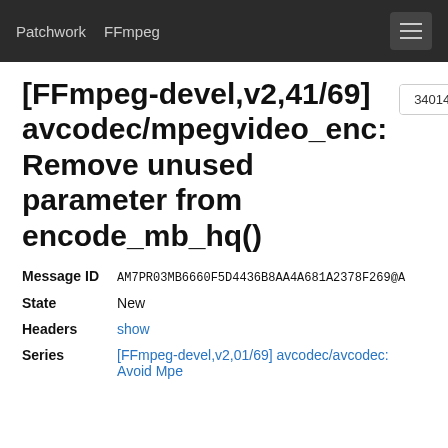Patchwork  FFmpeg
[FFmpeg-devel,v2,41/69] avcodec/mpegvideo_enc: Remove unused parameter from encode_mb_hq()
| Message ID | AM7PR03MB6660F5D4436B8AA4A681A2378F269@A |
| State | New |
| Headers | show |
| Series | [FFmpeg-devel,v2,01/69] avcodec/avcodec: Avoid Mpe |